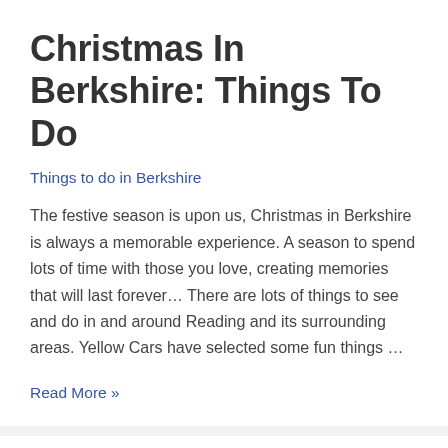Christmas In Berkshire: Things To Do
Things to do in Berkshire
The festive season is upon us, Christmas in Berkshire is always a memorable experience. A season to spend lots of time with those you love, creating memories that will last forever… There are lots of things to see and do in and around Reading and its surrounding areas. Yellow Cars have selected some fun things …
Read More »
Yellow Cars Reading
Gatwick Airport, Heathrow Airport, Luton Airport, Reading